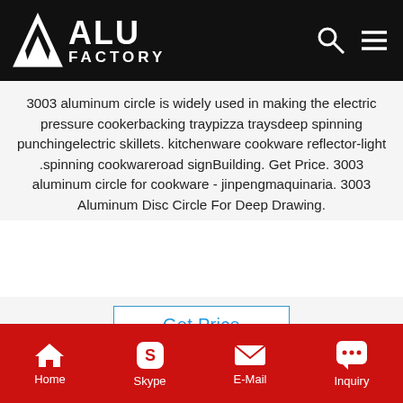ALU FACTORY
3003 aluminum circle is widely used in making the electric pressure cookerbacking traypizza traysdeep spinning punchingelectric skillets. kitchenware cookware reflector-light .spinning cookwareroad signBuilding. Get Price. 3003 aluminum circle for cookware - jinpengmaquinaria. 3003 Aluminum Disc Circle For Deep Drawing.
[Figure (other): Button labeled Get Price with blue text and border]
[Figure (photo): Photo of large aluminum rolls/coils bundled with green straps on a warehouse floor]
Home  Skype  E-Mail  Inquiry